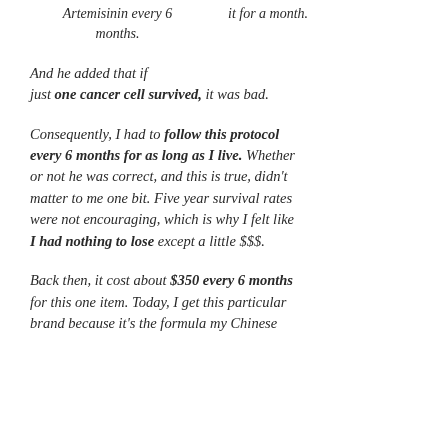Artemisinin every 6 months.
it for a month.
And he added that if just one cancer cell survived, it was bad.
Consequently, I had to follow this protocol every 6 months for as long as I live. Whether or not he was correct, and this is true, didn't matter to me one bit. Five year survival rates were not encouraging, which is why I felt like I had nothing to lose except a little $$$.
Back then, it cost about $350 every 6 months for this one item. Today, I get this particular brand because it's the formula my Chinese